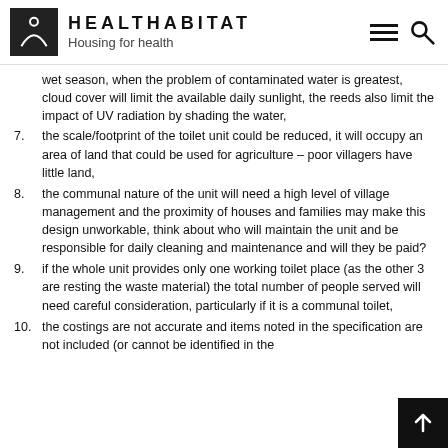HEALTHHABITAT — Housing for health
wet season, when the problem of contaminated water is greatest, cloud cover will limit the available daily sunlight, the reeds also limit the impact of UV radiation by shading the water,
7. the scale/footprint of the toilet unit could be reduced, it will occupy an area of land that could be used for agriculture – poor villagers have little land,
8. the communal nature of the unit will need a high level of village management and the proximity of houses and families may make this design unworkable, think about who will maintain the unit and be responsible for daily cleaning and maintenance and will they be paid?
9. if the whole unit provides only one working toilet place (as the other 3 are resting the waste material) the total number of people served will need careful consideration, particularly if it is a communal toilet,
10. the costings are not accurate and items noted in the specification are not included (or cannot be identified in the